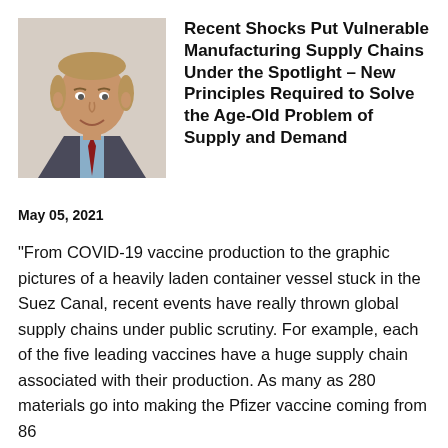[Figure (photo): Headshot of a middle-aged man in a suit and red tie, smiling, against a plain background.]
Recent Shocks Put Vulnerable Manufacturing Supply Chains Under the Spotlight – New Principles Required to Solve the Age-Old Problem of Supply and Demand
May 05, 2021
“From COVID-19 vaccine production to the graphic pictures of a heavily laden container vessel stuck in the Suez Canal, recent events have really thrown global supply chains under public scrutiny. For example, each of the five leading vaccines have a huge supply chain associated with their production. As many as 280 materials go into making the Pfizer vaccine coming from 86